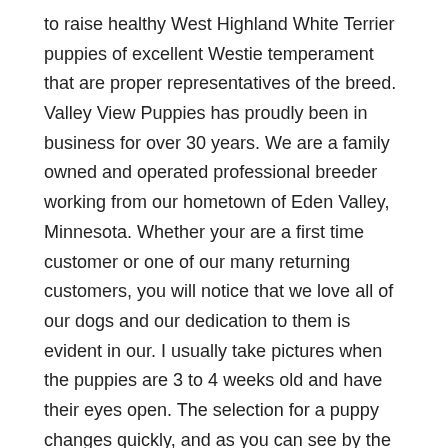to raise healthy West Highland White Terrier puppies of excellent Westie temperament that are proper representatives of the breed. Valley View Puppies has proudly been in business for over 30 years. We are a family owned and operated professional breeder working from our hometown of Eden Valley, Minnesota. Whether your are a first time customer or one of our many returning customers, you will notice that we love all of our dogs and our dedication to them is evident in our. I usually take pictures when the puppies are 3 to 4 weeks old and have their eyes open. The selection for a puppy changes quickly, and as you can see by the photos each of my Westie babies are adorable! We have some Champion Line, and many health tested parents. The puppies will be ready for their